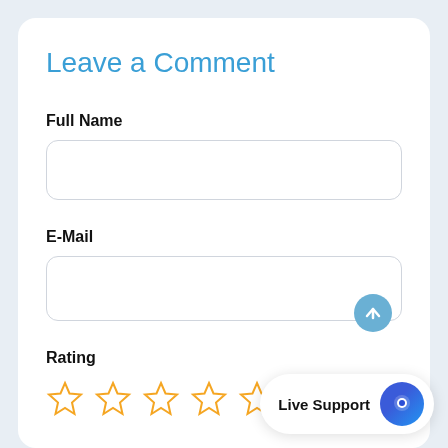Leave a Comment
Full Name
[Figure (other): Text input field for Full Name, empty, with rounded border]
E-Mail
[Figure (other): Text input field for E-Mail, empty, with rounded border and scroll-to-top button in top right]
Rating
[Figure (other): Five empty star icons in orange/gold outline for rating]
[Figure (other): Live Support chat button widget in bottom right corner]